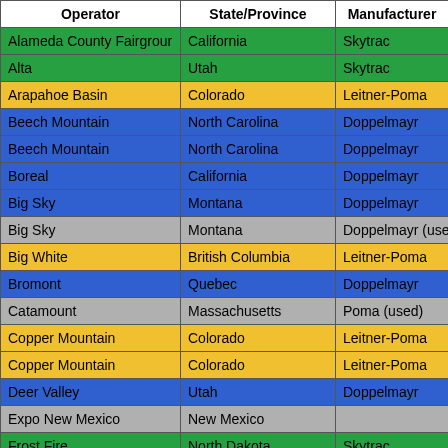| Operator | State/Province | Manufacturer |
| --- | --- | --- |
| Alameda County Fairgrour | California | Skytrac |
| Alta | Utah | Skytrac |
| Arapahoe Basin | Colorado | Leitner-Poma |
| Beech Mountain | North Carolina | Doppelmayr |
| Beech Mountain | North Carolina | Doppelmayr |
| Boreal | California | Doppelmayr |
| Big Sky | Montana | Doppelmayr |
| Big Sky | Montana | Doppelmayr (use |
| Big White | British Columbia | Leitner-Poma |
| Bromont | Quebec | Doppelmayr |
| Catamount | Massachusetts | Poma (used) |
| Copper Mountain | Colorado | Leitner-Poma |
| Copper Mountain | Colorado | Leitner-Poma |
| Deer Valley | Utah | Doppelmayr |
| Expo New Mexico | New Mexico |  |
| Frost Fire | North Dakota | Skytrac |
| Heavenly | California | Doppelmayr |
| Hunter Mountain | New York | Leitner-Poma |
| Killington | Vermont | Leitner-Poma |
| Killington | Vermont | Poma (used) |